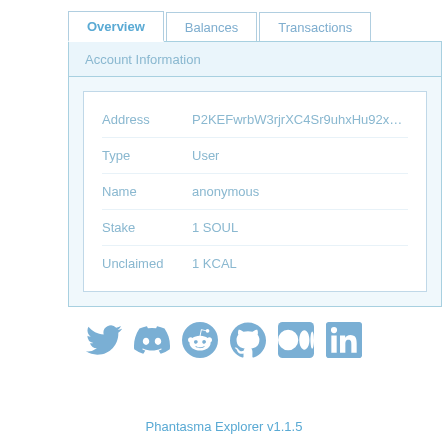Overview | Balances | Transactions
Account Information
| Field | Value |
| --- | --- |
| Address | P2KEFwrbW3rjrXC4Sr9uhxHu92xAmpy |
| Type | User |
| Name | anonymous |
| Stake | 1 SOUL |
| Unclaimed | 1 KCAL |
[Figure (illustration): Row of social media icons: Twitter, Discord, Reddit, GitHub, Medium, LinkedIn — all in light blue]
Phantasma Explorer v1.1.5